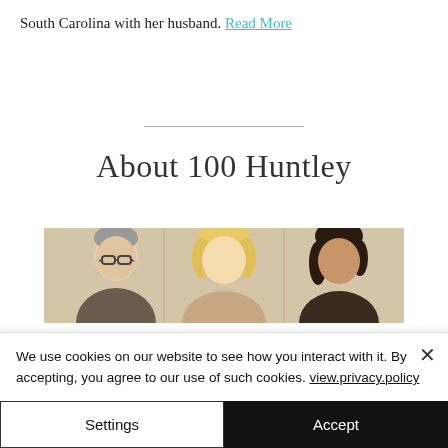South Carolina with her husband. Read More
About 100 Huntley
[Figure (photo): Group photo of three people (a man with glasses and grey hair, a blonde woman, and a woman with dark hair) cropped to show their faces/shoulders, appearing to be hosts or staff of 100 Huntley.]
We use cookies on our website to see how you interact with it. By accepting, you agree to our use of such cookies. view.privacy.policy
Settings
Accept